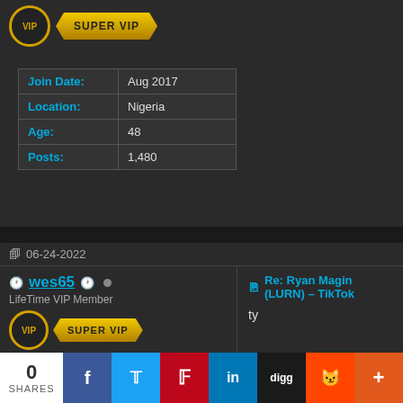[Figure (screenshot): VIP SUPER VIP badge for user 1]
| Join Date: | Aug 2017 |
| Location: | Nigeria |
| Age: | 48 |
| Posts: | 1,480 |
06-24-2022
wes65
LifeTime VIP Member
[Figure (screenshot): VIP SUPER VIP badge for wes65]
| Join Date: | Jun 2019 |
| Location: | ukrain |
Re: Ryan Magin (LURN) – TikTok
ty
0 SHARES